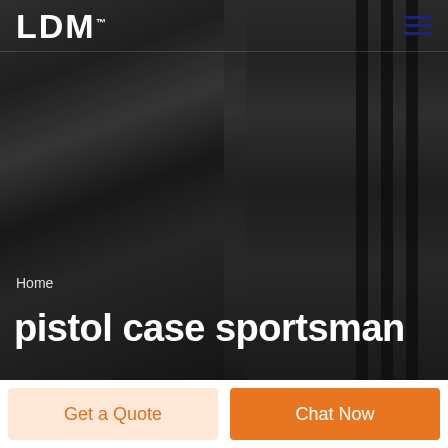LDM
[Figure (photo): Grayscale background photo of a smiling man in a suit, with dark vertical rods/poles visible on the right side of the image.]
Home
pistol case sportsman
Get a Quote
Chat Now